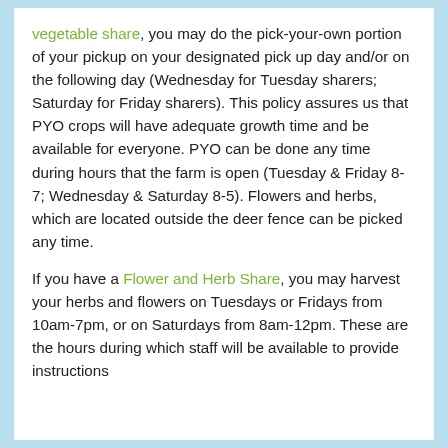vegetable share, you may do the pick-your-own portion of your pickup on your designated pick up day and/or on the following day (Wednesday for Tuesday sharers; Saturday for Friday sharers). This policy assures us that PYO crops will have adequate growth time and be available for everyone. PYO can be done any time during hours that the farm is open (Tuesday & Friday 8-7; Wednesday & Saturday 8-5). Flowers and herbs, which are located outside the deer fence can be picked any time.
If you have a Flower and Herb Share, you may harvest your herbs and flowers on Tuesdays or Fridays from 10am-7pm, or on Saturdays from 8am-12pm. These are the hours during which staff will be available to provide instructions